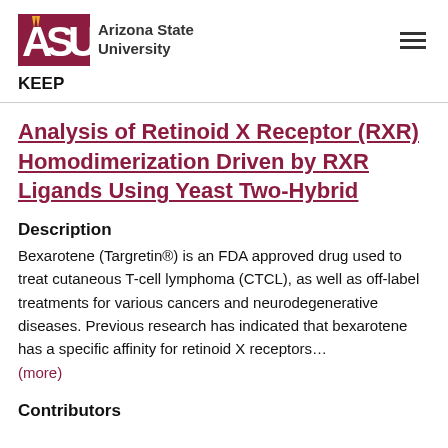[Figure (logo): Arizona State University logo with ASU text and sunburst icon]
KEEP
Analysis of Retinoid X Receptor (RXR) Homodimerization Driven by RXR Ligands Using Yeast Two-Hybrid
Description
Bexarotene (Targretin®) is an FDA approved drug used to treat cutaneous T-cell lymphoma (CTCL), as well as off-label treatments for various cancers and neurodegenerative diseases. Previous research has indicated that bexarotene has a specific affinity for retinoid X receptors…
(more)
Contributors